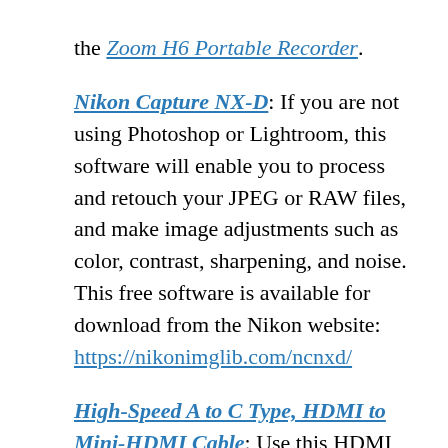the Zoom H6 Portable Recorder.
Nikon Capture NX-D: If you are not using Photoshop or Lightroom, this software will enable you to process and retouch your JPEG or RAW files, and make image adjustments such as color, contrast, sharpening, and noise. This free software is available for download from the Nikon website:
https://nikonimglib.com/ncnxd/
High-Speed A to C Type, HDMI to Mini-HDMI Cable: Use this HDMI cable to connect the camera to an HDMI CEC compatible TV (or other external HDMI device), and then view images, slideshows, or video from the camera.